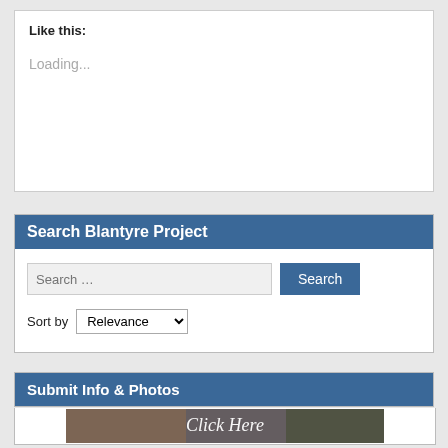Like this:
Loading...
Search Blantyre Project
Search … [input field] Search
Sort by Relevance
Submit Info & Photos
[Figure (photo): Click Here banner image with vintage photographs]
Buy Latest Book!
[Figure (photo): Book cover - Story of the Scottish National Memorial to David]